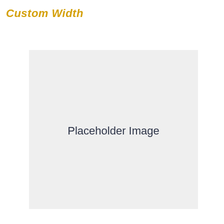Custom Width
[Figure (other): A light gray placeholder image box with the text 'Placeholder Image' centered inside it.]